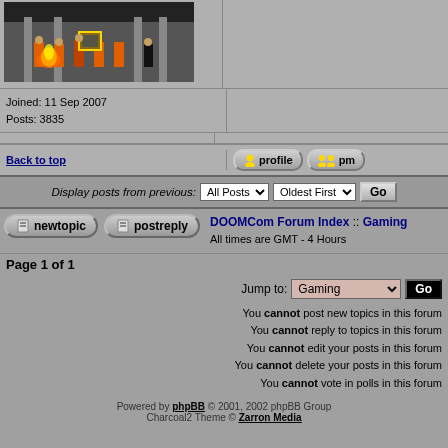[Figure (photo): Forum post image showing people in orange jumpsuits near a fire in front of a building]
Joined: 11 Sep 2007
Posts: 3835
Back to top
Display posts from previous: All Posts  Oldest First  Go
newtopic  postreply  DOOMCom Forum Index :: Gaming  All times are GMT - 4 Hours
Page 1 of 1
Jump to: Gaming  Go
You cannot post new topics in this forum
You cannot reply to topics in this forum
You cannot edit your posts in this forum
You cannot delete your posts in this forum
You cannot vote in polls in this forum
Powered by phpBB © 2001, 2002 phpBB Group
Charcoal2 Theme © Zarron Media